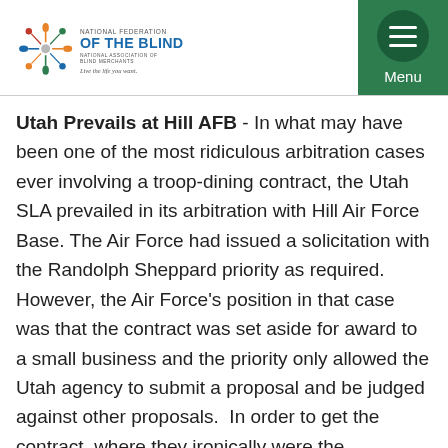[Figure (logo): National Federation of the Blind logo with colorful decorative emblem and text reading NATIONAL FEDERATION OF THE BLIND, NATIONAL ASSOCIATION OF BLIND MERCHANTS, Live the life you want.]
Utah Prevails at Hill AFB - In what may have been one of the most ridiculous arbitration cases ever involving a troop-dining contract, the Utah SLA prevailed in its arbitration with Hill Air Force Base. The Air Force had issued a solicitation with the Randolph Sheppard priority as required.  However, the Air Force's position in that case was that the contract was set aside for award to a small business and the priority only allowed the Utah agency to submit a proposal and be judged against other proposals.  In order to get the contract, where they ironically were the incumbent with their teaming partner FSIG, they had to be the low bid.  The SLA's bid was very competitive, but not the absolute lowest so the SLA did not get the contract.  The arbitration panel ruled the Air